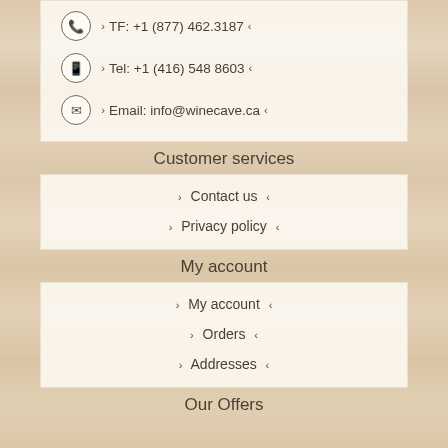TF: +1 (877) 462.3187
Tel: +1 (416) 548 8603
Email: info@winecave.ca
Customer services
Contact us
Privacy policy
My account
My account
Orders
Addresses
Our Offers